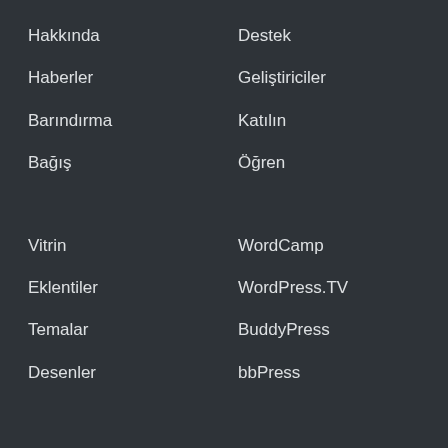Hakkında
Destek
Haberler
Geliştiriciler
Barındırma
Katılın
Bağış
Öğren
Vitrin
WordCamp
Eklentiler
WordPress.TV
Temalar
BuddyPress
Desenler
bbPress
WordPress.com
Matt
Gizlilik